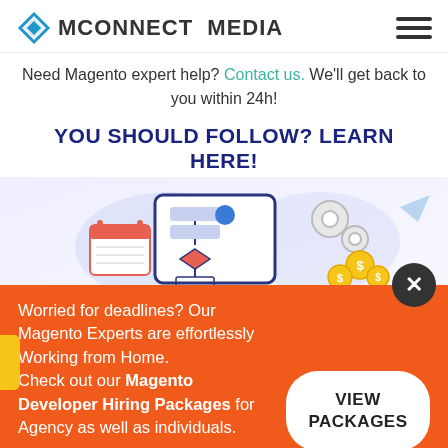MCONNECT MEDIA
Need Magento expert help? Contact us. We'll get back to you within 24h!
YOU SHOULD FOLLOW? LEARN HERE!
[Figure (illustration): Illustration of a flowchart/diagram on a tablet screen with gear icons and dollar coin icons on a light blue/purple background]
Worried for deadlines? Our Magento Experts are effortlessly Working from Home.
Check out our Magento Developer Hiring Packages for Agency as well as individuals.
VIEW PACKAGES